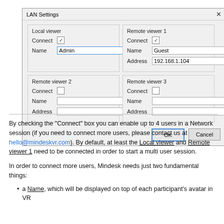[Figure (screenshot): LAN Settings dialog box with four viewer sections: Local viewer (Name: Admin, Connect checked), Remote viewer 1 (Name: Guest, Address: 192.168.1.104, Connect checked), Remote viewer 2 (empty, Connect unchecked), Remote viewer 3 (empty, Connect unchecked). OK and Cancel buttons at bottom.]
By checking the "Connect" box you can enable up to 4 users in a Network session (if you need to connect more users, please contact us at hello@mindeskvr.com). By default, at least the Local viewer and Remote viewer 1 need to be connected in order to start a multi user session.
In order to connect more users, Mindesk needs just two fundamental things:
a Name, which will be displayed on top of each participant's avatar in VR